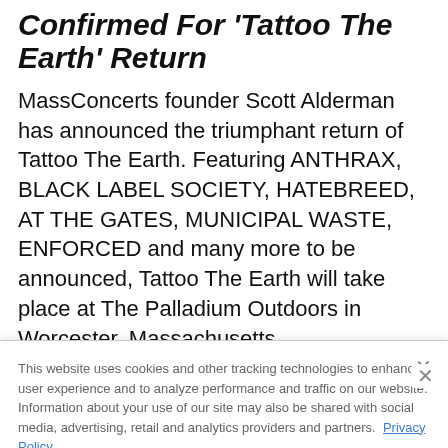Confirmed For 'Tattoo The Earth' Return
MassConcerts founder Scott Alderman has announced the triumphant return of Tattoo The Earth. Featuring ANTHRAX, BLACK LABEL SOCIETY, HATEBREED, AT THE GATES, MUNICIPAL WASTE, ENFORCED and many more to be announced, Tattoo The Earth will take place at The Palladium Outdoors in Worcester, Massachusetts
This website uses cookies and other tracking technologies to enhance user experience and to analyze performance and traffic on our website. Information about your use of our site may also be shared with social media, advertising, retail and analytics providers and partners. Privacy Policy
[Figure (screenshot): Advertisement banner for Carpenter Brut at The Fillmore Silver Spring, Sat. September 3, on dark background with stylized figure imagery]